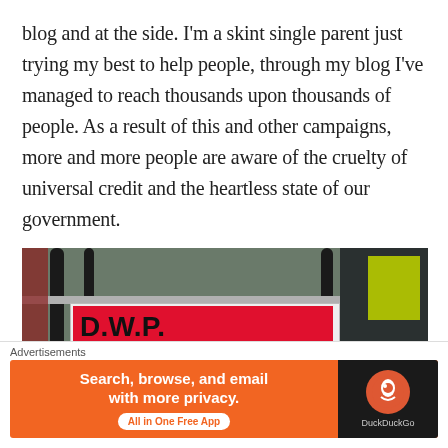blog and at the side. I'm a skint single parent just trying my best to help people, through my blog I've managed to reach thousands upon thousands of people. As a result of this and other campaigns, more and more people are aware of the cruelty of universal credit and the heartless state of our government.
[Figure (photo): Protest photo showing a banner attached to metal railings that reads 'D.W.P. SANCTIONS ARE' on a red and white banner background, with a person in a high-visibility jacket visible on the right side.]
Advertisements
[Figure (screenshot): DuckDuckGo advertisement banner reading 'Search, browse, and email with more privacy. All in One Free App' with DuckDuckGo logo on dark background.]